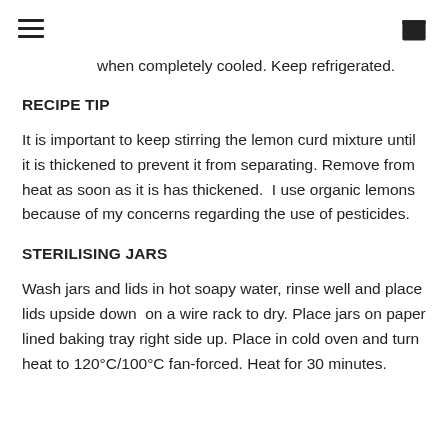[hamburger menu icon] [shopping bag icon]
when completely cooled. Keep refrigerated.
RECIPE TIP
It is important to keep stirring the lemon curd mixture until it is thickened to prevent it from separating. Remove from heat as soon as it is has thickened.  I use organic lemons because of my concerns regarding the use of pesticides.
STERILISING JARS
Wash jars and lids in hot soapy water, rinse well and place lids upside down  on a wire rack to dry. Place jars on paper lined baking tray right side up. Place in cold oven and turn heat to 120°C/100°C fan-forced. Heat for 30 minutes.